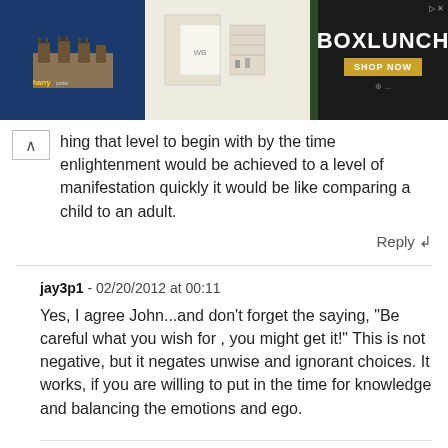[Figure (screenshot): Advertisement banner showing Harry Potter themed products and BoxLunch branding with castle imagery and green merchandise]
hing that level to begin with by the time enlightenment would be achieved to a level of manifestation quickly it would be like comparing a child to an adult.
Reply
jay3p1 - 02/20/2012 at 00:11
Yes, I agree John...and don't forget the saying, "Be careful what you wish for , you might get it!" This is not negative, but it negates unwise and ignorant choices. It works, if you are willing to put in the time for knowledge and balancing the emotions and ego.
Colombus - 02/05/2012 at 18:50